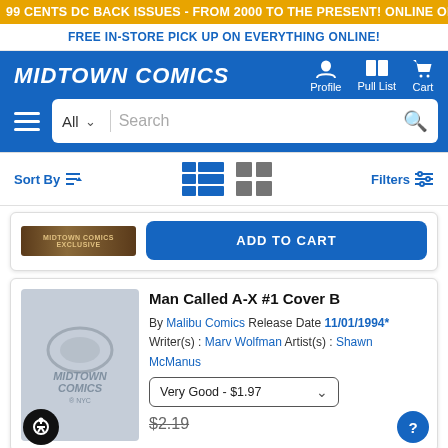99 CENTS DC BACK ISSUES - FROM 2000 TO THE PRESENT! ONLINE ONLY, TODAY ONLY!
FREE IN-STORE PICK UP ON EVERYTHING ONLINE!
MIDTOWN COMICS — Profile | Pull List | Cart
Sort By | Filters
[Figure (screenshot): Partial product image strip at top of a comic listing]
ADD TO CART
Man Called A-X #1 Cover B
By Malibu Comics Release Date 11/01/1994*
Writer(s) : Marv Wolfman Artist(s) : Shawn McManus
Very Good - $1.97
$2.19